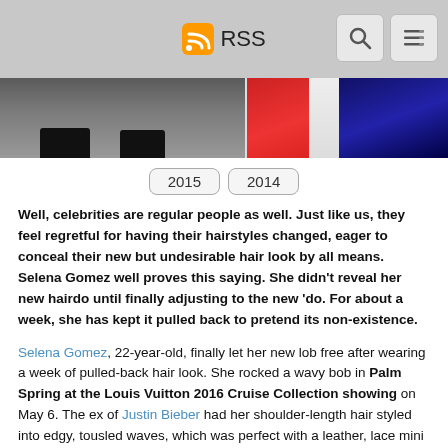RSS
[Figure (photo): Photo strip showing celebrity images from 2015 and 2014]
2015  2014
Well, celebrities are regular people as well. Just like us, they feel regretful for having their hairstyles changed, eager to conceal their new but undesirable hair look by all means. Selena Gomez well proves this saying. She didn't reveal her new hairdo until finally adjusting to the new 'do. For about a week, she has kept it pulled back to pretend its non-existence.
Selena Gomez, 22-year-old, finally let her new lob free after wearing a week of pulled-back hair look. She rocked a wavy bob in Palm Spring at the Louis Vuitton 2016 Cruise Collection showing on May 6. The ex of Justin Bieber had her shoulder-length hair styled into edgy, tousled waves, which was perfect with a leather, lace mini dress, and her sexy smoky eye makeup. How are the details of your new style? Read on to get some and tell us whether you like her new lob or not.
Selena Gomez Revealed Her New Lob–How Do You Think?